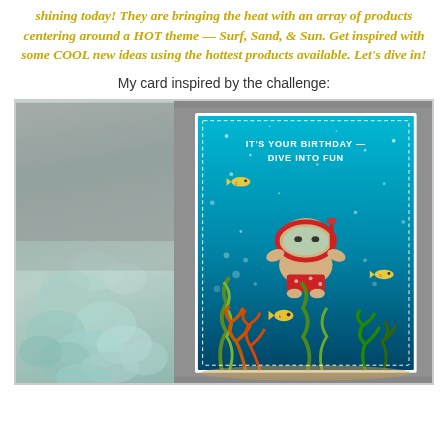shining today! They are bringing the heat with an array of products centering around a HOT theme — Surf, Sand, & Sun. Get inspired with some COOL new ideas using the hottest products available. Let's dive in!
My card inspired by the challenge:
[Figure (photo): A handmade birthday card with an underwater theme. The card features a cartoon animal (frog/bear) wearing snorkeling gear (red goggles and snorkel) and red polka-dot swim shorts, swimming underwater. The card reads 'IT'S YOUR BIRTHDAY — DIVE INTO FUN'. There are fish, coral, and seaweed decorations. The card has a sparkly blue ocean background. On the left side of the photo are mint-green hydrangea flowers out of focus, and the photo has a grey background.]